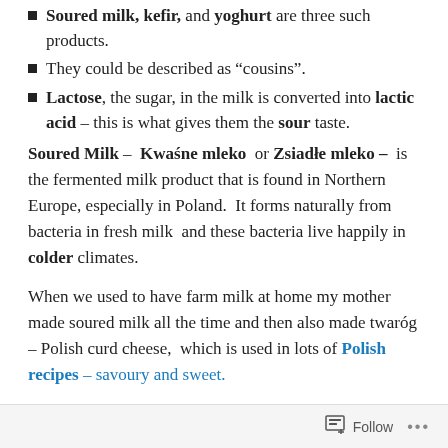Soured milk, kefir, and yoghurt are three such products.
They could be described as “cousins”.
Lactose, the sugar, in the milk is converted into lactic acid – this is what gives them the sour taste.
Soured Milk – Kwaśne mleko or Zsiadłe mleko – is the fermented milk product that is found in Northern Europe, especially in Poland. It forms naturally from bacteria in fresh milk and these bacteria live happily in colder climates.
When we used to have farm milk at home my mother made soured milk all the time and then also made twaróg – Polish curd cheese, which is used in lots of Polish recipes – savoury and sweet.
Follow